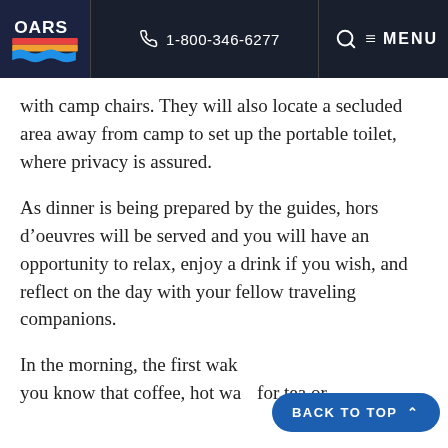OARS | 1-800-346-6277 | MENU
with camp chairs. They will also locate a secluded area away from camp to set up the portable toilet, where privacy is assured.
As dinner is being prepared by the guides, hors d’oeuvres will be served and you will have an opportunity to relax, enjoy a drink if you wish, and reflect on the day with your fellow traveling companions.
In the morning, the first wak… you know that coffee, hot wa… for tea or